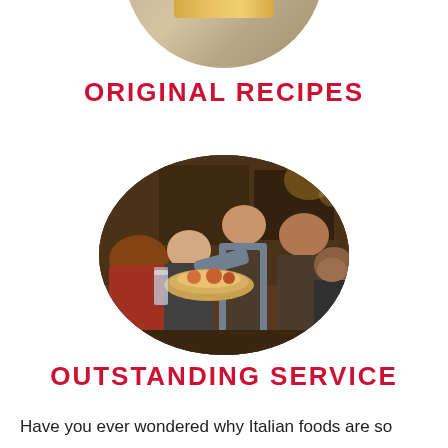[Figure (photo): Partial oval-cropped image of food dish at top of page, partially visible]
ORIGINAL RECIPES
[Figure (photo): Oval-cropped photo of restaurant scene with waiter serving food to a group of smiling customers in a restaurant setting]
OUTSTANDING SERVICE
Have you ever wondered why Italian foods are so